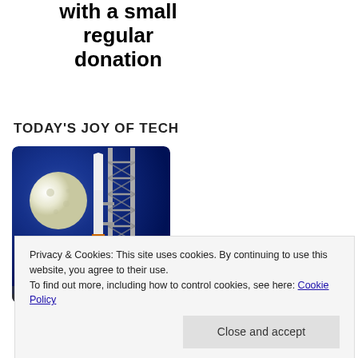with a small regular donation
TODAY'S JOY OF TECH
[Figure (illustration): Illustration of a rocket on a launch pad at night with a large moon in the background. The rocket has an orange lower stage. A tall metal launch tower/gantry structure is visible to the right.]
Privacy & Cookies: This site uses cookies. By continuing to use this website, you agree to their use.
To find out more, including how to control cookies, see here: Cookie Policy
RECENT POSTS